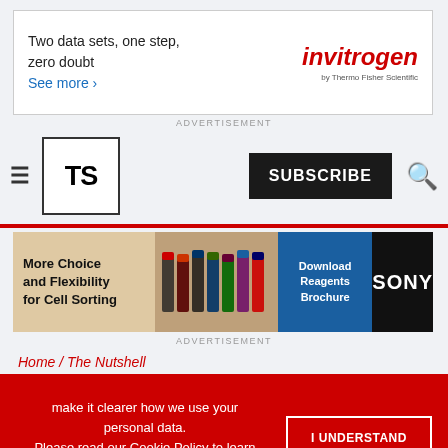[Figure (screenshot): Invitrogen advertisement banner: 'Two data sets, one step, zero doubt. See more ›' with Invitrogen by Thermo Fisher Scientific logo]
ADVERTISEMENT
[Figure (screenshot): The Scientist website navigation bar with hamburger menu, TS logo, SUBSCRIBE button, and search icon]
[Figure (screenshot): Sony advertisement: 'More Choice and Flexibility for Cell Sorting' with tube images, Download Reagents Brochure button, and Sony logo]
ADVERTISEMENT
Home / The Nutshell
H...Congress
[Figure (screenshot): Cookie consent overlay on red background: 'make it clearer how we use your personal data. Please read our Cookie Policy to learn how we use cookies to provide you' with I UNDERSTAND button]
[Figure (screenshot): Thermo Fisher Scientific advertisement: 'Funding opportunities for crucial cancer research' with Apply now button]
ADVERTISEMENT